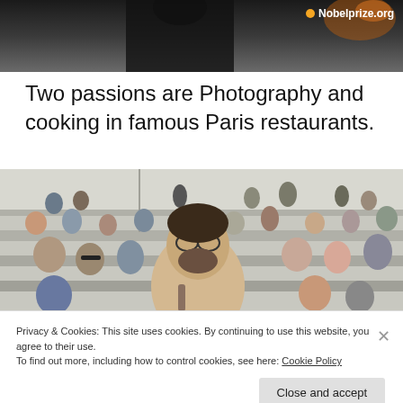[Figure (photo): Top portion of a photograph showing a dark-clothed figure, with Nobelprize.org badge in the top right corner]
Two passions are Photography and cooking in famous Paris restaurants.
[Figure (photo): A crowd of people sitting in stadium bleachers/stands, with a man with glasses and a beard in the foreground looking at the camera]
Privacy & Cookies: This site uses cookies. By continuing to use this website, you agree to their use.
To find out more, including how to control cookies, see here: Cookie Policy
Close and accept